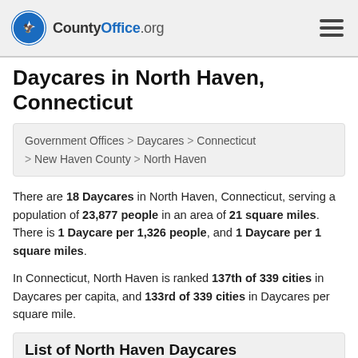CountyOffice.org
Daycares in North Haven, Connecticut
Government Offices > Daycares > Connecticut > New Haven County > North Haven
There are 18 Daycares in North Haven, Connecticut, serving a population of 23,877 people in an area of 21 square miles. There is 1 Daycare per 1,326 people, and 1 Daycare per 1 square miles.
In Connecticut, North Haven is ranked 137th of 339 cities in Daycares per capita, and 133rd of 339 cities in Daycares per square mile.
List of North Haven Daycares
Find North Haven, Connecticut daycares and preschools.